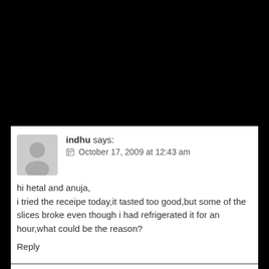indhu says: October 17, 2009 at 12:43 am
hi hetal and anuja,
i tried the receipe today,it tasted too good,but some of the slices broke even though i had refrigerated it for an hour,what could be the reason?
Reply
hetal Post Author says: October 19, 2009 at 1:24 am
Hi Indhu,